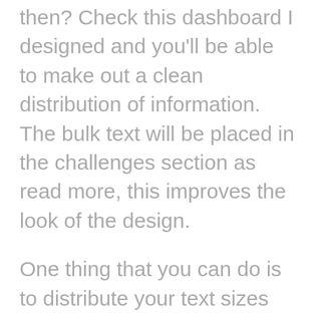then? Check this dashboard I designed and you'll be able to make out a clean distribution of information. The bulk text will be placed in the challenges section as read more, this improves the look of the design.
One thing that you can do is to distribute your text sizes and placement in such a way that even a hundred lines text doesn't look messy. One way of doing this is to open a pop-up for such large quantitative information. In this way, the information is on the same page, which satisfies the client and the UI is cleaner as well. When you have more whitespace the UI automatically looks neat and clean. White space does not literally mean an empty space with a white background. It can be text color, texture, shape, or even an image. Whitespace helps in improving the comprehension, it helps in making